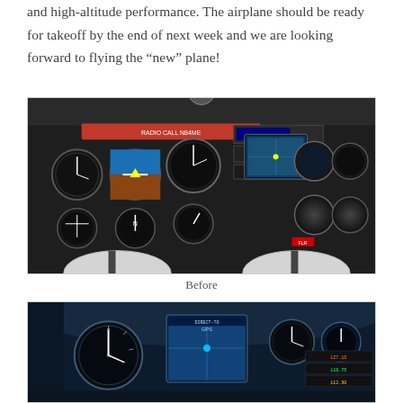and high-altitude performance. The airplane should be ready for takeoff by the end of next week and we are looking forward to flying the “new” plane!
[Figure (photo): Photograph of an aircraft cockpit instrument panel (Before): dark panel with multiple round analog gauges, radio stack, GPS display screen, and two control yokes visible in the foreground.]
Before
[Figure (photo): Photograph of an aircraft cockpit instrument panel (After, partially visible): updated dark blue panel with modern avionics including a color GPS/MFD screen, round gauges, and updated radio stack.]